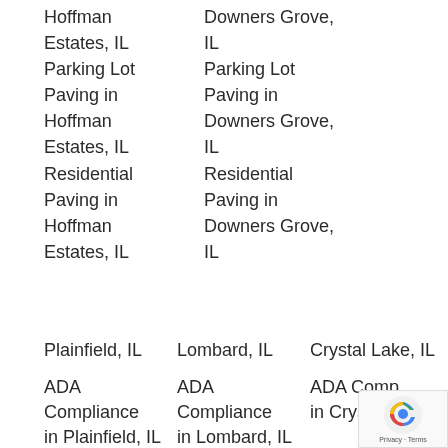Hoffman Estates, IL
Downers Grove, IL
Parking Lot
Parking Lot
Paving in
Paving in
Hoffman Estates, IL
Downers Grove, IL
Residential
Residential
Paving in
Paving in
Hoffman Estates, IL
Downers Grove, IL
Plainfield, IL
Lombard, IL
Crystal Lake, IL
ADA Compliance in Plainfield, IL
ADA Compliance in Lombard, IL
ADA Comp in Crystal La
Asphalt Chi
Asphalt Chi
Asphalt Chi